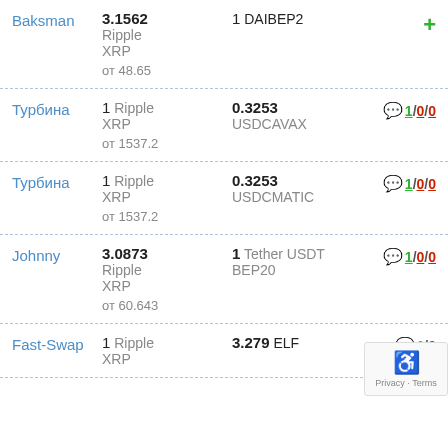| Exchanger | From | To | Rating |
| --- | --- | --- | --- |
| Baksman | 3.1562 Ripple XRP от 48.65 | 1 DAIBEP2 | + |
| Турбина | 1 Ripple XRP от 1537.2 | 0.3253 USDCAVAX | 💬 1/0/0 |
| Турбина | 1 Ripple XRP от 1537.2 | 0.3253 USDCMATIC | 💬 1/0/0 |
| Johnny | 3.0873 Ripple XRP от 60.643 | 1 Tether USDT BEP20 | 💬 1/0/0 |
| Fast-Swap | 1 Ripple XRP от ... | 3.279 ELF | 💬 1/0 |